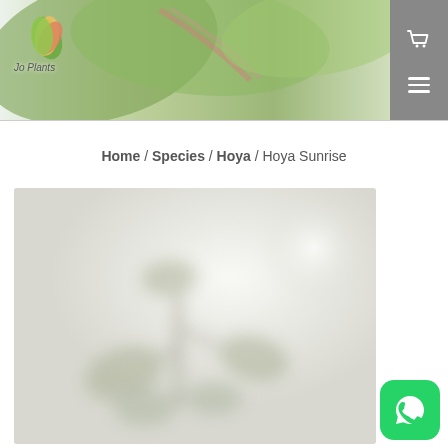Jo Plants — navigation header with logo and plant banner image
Home / Species / Hoya / Hoya Sunrise
[Figure (photo): Blurred/soft-focus photograph of a Hoya Sunrise plant with light grey-green background, plant silhouette visible]
[Figure (other): WhatsApp contact button — green rounded square icon with WhatsApp logo]